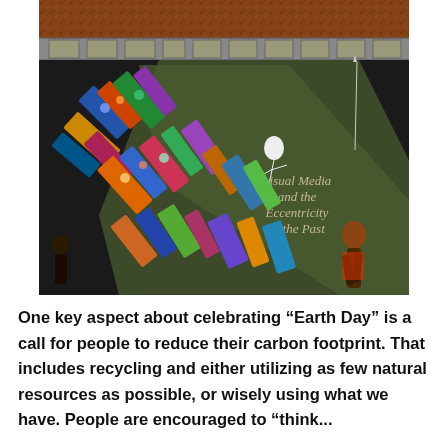[Figure (illustration): Book cover image titled 'Visual Media and the Eccentricity of the Past'. Shows colorful decorated books/manuscripts tumbling or stacked diagonally against a dark background, with a white illustrated figure of a person reading or sliding, and additional dark figures at the bottom right. The top portion shows a rusty/earthy textured band and a decorative tile pattern.]
One key aspect about celebrating “Earth Day” is a call for people to reduce their carbon footprint.  That includes recycling and either utilizing as few natural resources as possible, or wisely using what we have. People are encouraged to “think...